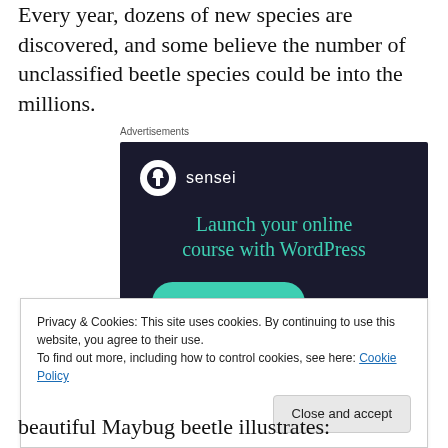Every year, dozens of new species are discovered, and some believe the number of unclassified beetle species could be into the millions.
[Figure (other): Advertisement banner for Sensei with dark navy background. Features Sensei logo (white circle with tree icon) and brand name, headline 'Launch your online course with WordPress' in teal, and a 'Learn More' teal button.]
Privacy & Cookies: This site uses cookies. By continuing to use this website, you agree to their use.
To find out more, including how to control cookies, see here: Cookie Policy
beautiful Maybug beetle illustrates: